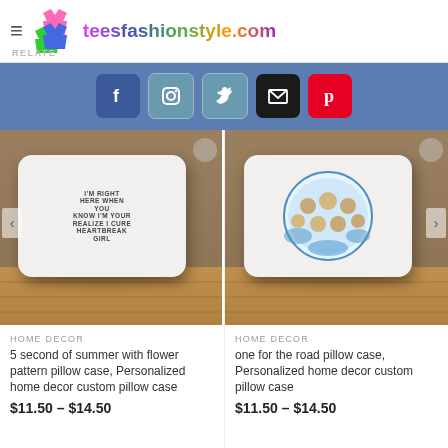teesfashionstyle.com
RELATE
[Figure (screenshot): Social media bar with Facebook, Instagram, Twitter, Email, and Pinterest icons on blue background]
[Figure (photo): 5 second of summer with flower pattern pillow case displayed on pillow in room setting]
HOME DECOR
5 second of summer with flower pattern pillow case, Personalized home decor custom pillow case
$11.50 – $14.50
[Figure (photo): One for the road pillow case with group selfie illustration displayed on pillow in room setting]
HOME DECOR
one for the road pillow case, Personalized home decor custom pillow case
$11.50 – $14.50